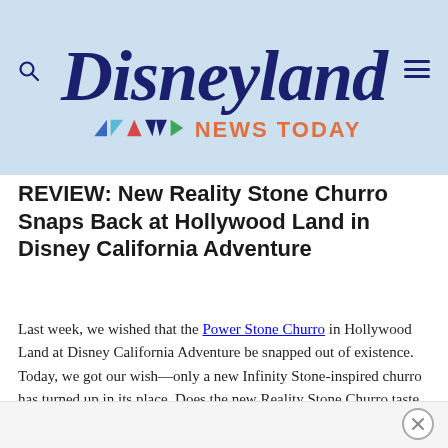[Figure (logo): Disneyland News Today logo on light blue background with colorful triangle/arrow icons]
REVIEW: New Reality Stone Churro Snaps Back at Hollywood Land in Disney California Adventure
Last week, we wished that the Power Stone Churro in Hollywood Land at Disney California Adventure be snapped out of existence. Today, we got our wish––only a new Infinity Stone-inspired churro has turned up in its place. Does the new Reality Stone Churro taste better than the Power Stone? Let’s find out.